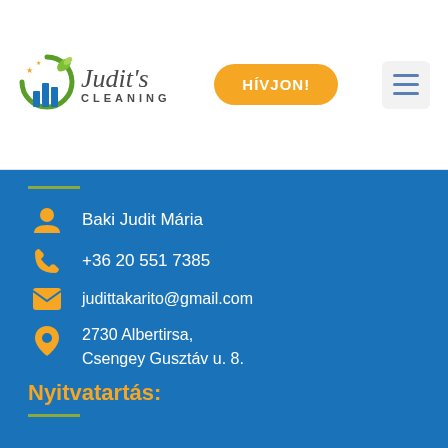[Figure (logo): Judit's Cleaning logo with leaf and bar chart icon, script text 'Judit's' and 'CLEANING' in capitals]
HÍVJON!
[Figure (other): Hamburger menu icon with three horizontal lines]
Baki Judit Mária
+36 20 551 7385
judittakarito@gmail.com
2730 Albertirsa,
Csengey Gusztáv u. 8.
Nyitvatartás: